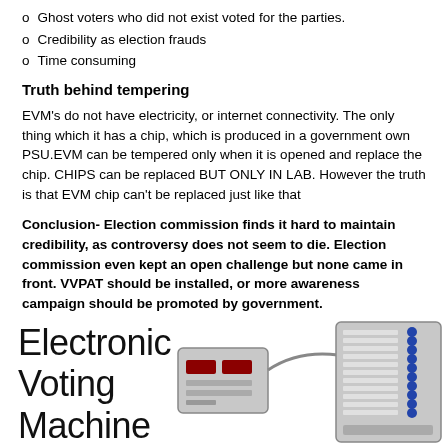Ghost voters who did not exist voted for the parties.
Credibility as election frauds
Time consuming
Truth behind tempering
EVM's do not have electricity, or internet connectivity. The only thing which it has a chip, which is produced in a government own PSU.EVM can be tempered only when it is opened and replace the chip. CHIPS can be replaced BUT ONLY IN LAB. However the truth is that EVM chip can't be replaced just like that
Conclusion- Election commission finds it hard to maintain credibility, as controversy does not seem to die. Election commission even kept an open challenge but none came in front. VVPAT should be installed, or more awareness campaign should be promoted by government.
[Figure (photo): Electronic Voting Machine (EVM) with control unit and ballot unit shown side by side]